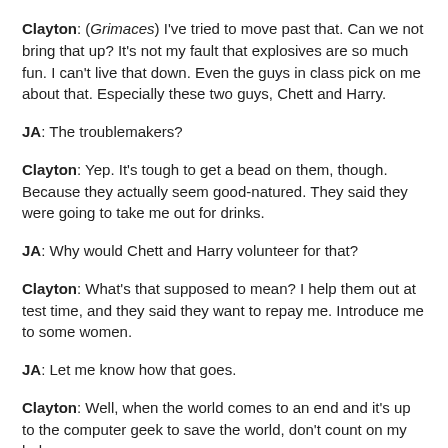Clayton: (Grimaces) I've tried to move past that. Can we not bring that up? It's not my fault that explosives are so much fun. I can't live that down. Even the guys in class pick on me about that. Especially these two guys, Chett and Harry.
JA: The troublemakers?
Clayton: Yep. It's tough to get a bead on them, though. Because they actually seem good-natured. They said they were going to take me out for drinks.
JA: Why would Chett and Harry volunteer for that?
Clayton: What's that supposed to mean? I help them out at test time, and they said they want to repay me. Introduce me to some women.
JA: Let me know how that goes.
Clayton: Well, when the world comes to an end and it's up to the computer geek to save the world, don't count on my help.